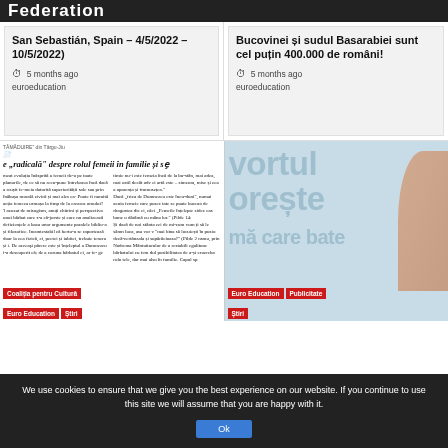Federation
San Sebastián, Spain – 4/5/2022 – 10/5/2022)
5 months ago
euroeducation
Bucovinei și sudul Basarabiei sunt cel puțin 400.000 de români!
5 months ago
euroeducation
[Figure (screenshot): Newspaper clipping about rolul femeii in familie, with tags: Coaliția pentru Cultură, Euro Education, Știri]
[Figure (screenshot): Large blue text reading 'vortul orește mă care bate' with Euro Education, Publicitate, Știri tags and silhouette]
We use cookies to ensure that we give you the best experience on our website. If you continue to use this site we will assume that you are happy with it.
Ok